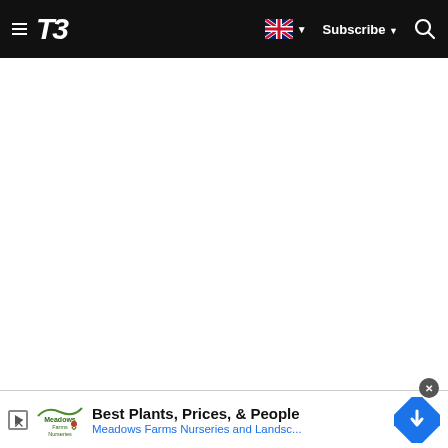T3 — Subscribe — Search
[Figure (screenshot): White blank content area of a T3 website page]
[Figure (infographic): Advertisement banner: Best Plants, Prices, & People — Meadows Farms Nurseries and Landsc...]